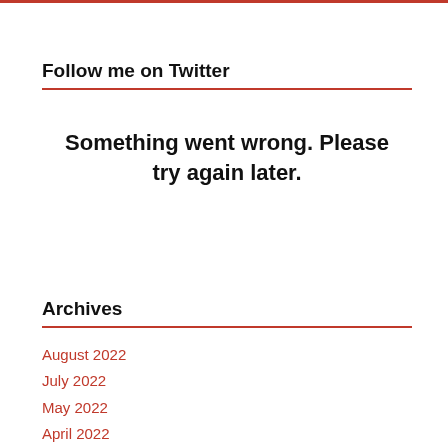Follow me on Twitter
Something went wrong. Please try again later.
Archives
August 2022
July 2022
May 2022
April 2022